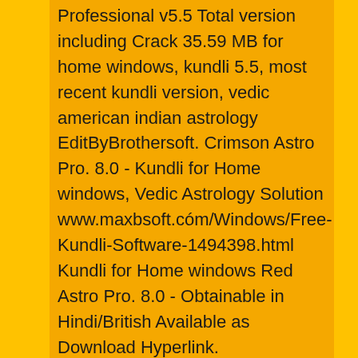Professional v5.5 Total version including Crack 35.59 MB for home windows, kundli 5.5, most recent kundli version, vedic american indian astrology EditByBrothersoft. Crimson Astro Pro. 8.0 - Kundli for Home windows, Vedic Astrology Solution www.maxbsoft.cóm/Windows/Free-Kundli-Software-1494398.html Kundli for Home windows Red Astro Pro. 8.0 - Obtainable in Hindi/British Available as Download Hyperlink.
Shop the LG K7™ Unlocked Smartphone in Titan for a 4G LTE network provider. Find tech specs, features, pictures and reviews directly from the manufacturer. Internal